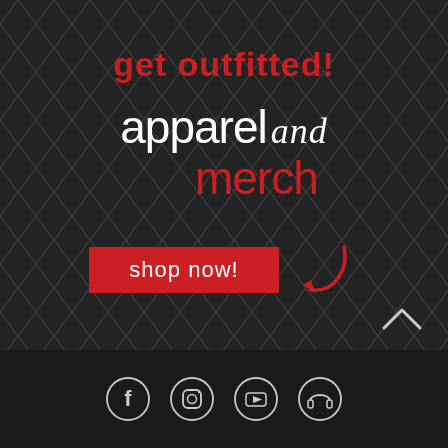[Figure (infographic): Promotional banner with dark diamond/net pattern background. Text 'get outfitted!' in red at top, then 'apparel and merch' in white/red mixed fonts, a red 'shop now!' button with a curved red arrow pointing to it. Bottom bar has social media icons (Facebook, Instagram, YouTube, headphones) and a chevron-up arrow.]